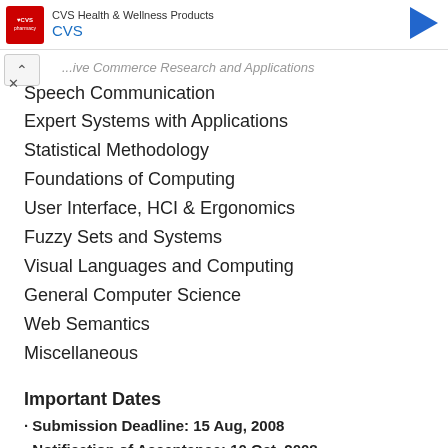[Figure (other): CVS Health & Wellness Products advertisement banner with CVS pharmacy logo and navigation arrow]
...ive Commerce Research and Applications
Speech Communication
Expert Systems with Applications
Statistical Methodology
Foundations of Computing
User Interface, HCI & Ergonomics
Fuzzy Sets and Systems
Visual Languages and Computing
General Computer Science
Web Semantics
Miscellaneous
Important Dates
· Submission Deadline: 15 Aug, 2008
· Notification of Acceptance: 10 Oct, 2008